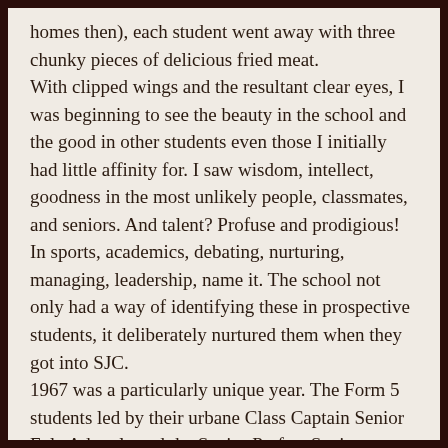homes then), each student went away with three chunky pieces of delicious fried meat. With clipped wings and the resultant clear eyes, I was beginning to see the beauty in the school and the good in other students even those I initially had little affinity for. I saw wisdom, intellect, goodness in the most unlikely people, classmates, and seniors. And talent? Profuse and prodigious! In sports, academics, debating, nurturing, managing, leadership, name it. The school not only had a way of identifying these in prospective students, it deliberately nurtured them when they got into SJC. 1967 was a particularly unique year. The Form 5 students led by their urbane Class Captain Senior Fola Adunola and the Senior Prefect Senior Benson Oruma demonstrated camaraderie and